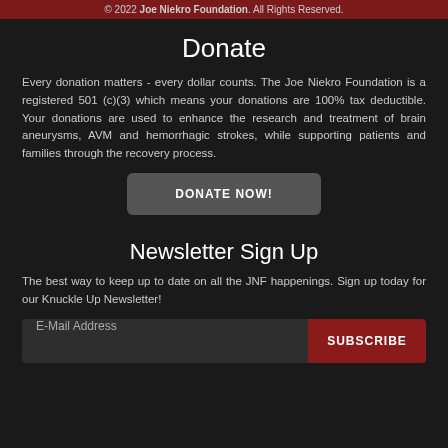© 2022 Joe Niekro Foundation. All Rights Reserved.
Donate
Every donation matters - every dollar counts. The Joe Niekro Foundation is a registered 501 (c)(3) which means your donations are 100% tax deductible. Your donations are used to enhance the research and treatment of brain aneurysms, AVM and hemorrhagic strokes, while supporting patients and families through the recovery process.
DONATE NOW!
Newsletter Sign Up
The best way to keep up to date on all the JNF happenings. Sign up today for our Knuckle Up Newsletter!
E-Mail Address  SUBSCRIBE